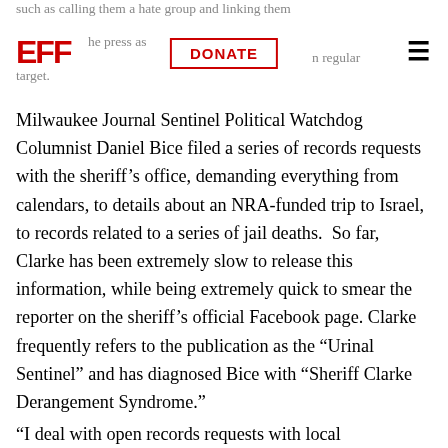such as calling them a hate group and linking them
EFF | the press as DONATE n regular target.
Milwaukee Journal Sentinel Political Watchdog Columnist Daniel Bice filed a series of records requests with the sheriff’s office, demanding everything from calendars, to details about an NRA-funded trip to Israel, to records related to a series of jail deaths.  So far, Clarke has been extremely slow to release this information, while being extremely quick to smear the reporter on the sheriff’s official Facebook page. Clarke frequently refers to the publication as the “Urinal Sentinel” and has diagnosed Bice with “Sheriff Clarke Derangement Syndrome.”
“I deal with open records requests with local